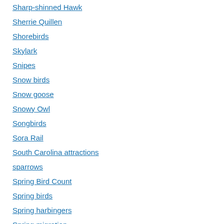Sharp-shinned Hawk
Sherrie Quillen
Shorebirds
Skylark
Snipes
Snow birds
Snow goose
Snowy Owl
Songbirds
Sora Rail
South Carolina attractions
sparrows
Spring Bird Count
Spring birds
Spring harbingers
Spring migration
squirrels at feeders
Steele Creek Park
Steven Hopp